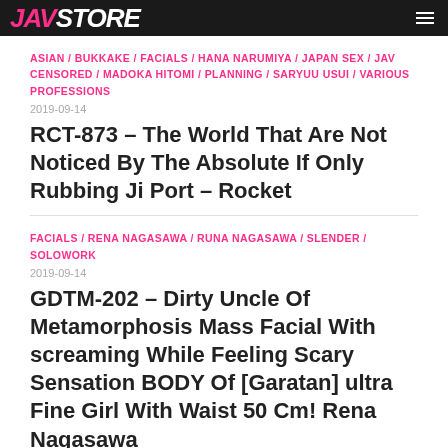JAV STORE
ASIAN / BUKKAKE / FACIALS / HANA NARUMIYA / JAPAN SEX / JAV CENSORED / MADOKA HITOMI / PLANNING / SARYUU USUI / VARIOUS PROFESSIONS
2019-09-14
RCT-873 – The World That Are Not Noticed By The Absolute If Only Rubbing Ji Port – Rocket
FACIALS / RENA NAGASAWA / RUNA NAGASAWA / SLENDER / SOLOWORK
2019-09-14
GDTM-202 – Dirty Uncle Of Metamorphosis Mass Facial With screaming While Feeling Scary Sensation BODY Of [Garatan] ultra Fine Girl With Waist 50 Cm! Rena Nagasawa